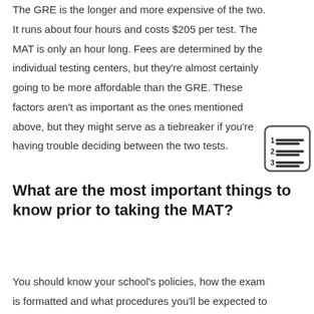The GRE is the longer and more expensive of the two. It runs about four hours and costs $205 per test. The MAT is only an hour long. Fees are determined by the individual testing centers, but they're almost certainly going to be more affordable than the GRE. These factors aren't as important as the ones mentioned above, but they might serve as a tiebreaker if you're having trouble deciding between the two tests.
What are the most important things to know prior to taking the MAT?
You should know your school's policies, how the exam is formatted and what procedures you'll be expected to follow at test time.